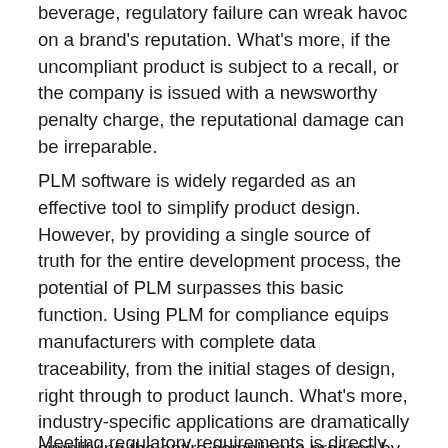beverage, regulatory failure can wreak havoc on a brand's reputation. What's more, if the uncompliant product is subject to a recall, or the company is issued with a newsworthy penalty charge, the reputational damage can be irreparable.
PLM software is widely regarded as an effective tool to simplify product design. However, by providing a single source of truth for the entire development process, the potential of PLM surpasses this basic function. Using PLM for compliance equips manufacturers with complete data traceability, from the initial stages of design, right through to product launch. What's more, industry-specific applications are dramatically simplifying the entire compliance process by guaranteeing businesses can meet particular regulations from the very outset.
Meeting regulatory requirements is directly obligating...